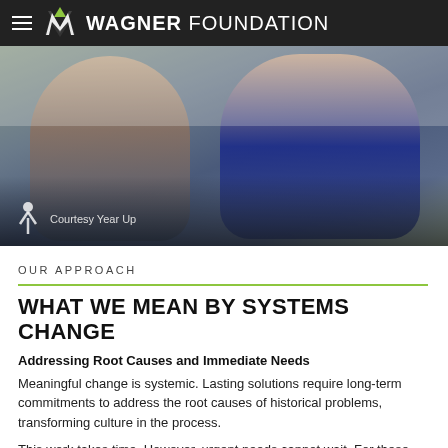WAGNER FOUNDATION
[Figure (photo): Two smiling young adults seated in a classroom setting. A man with glasses on the left and a woman in a blue top on the right. Courtesy Year Up logo and caption overlay at the bottom left.]
Courtesy Year Up
OUR APPROACH
WHAT WE MEAN BY SYSTEMS CHANGE
Addressing Root Causes and Immediate Needs
Meaningful change is systemic. Lasting solutions require long-term commitments to address the root causes of historical problems, transforming culture in the process.
This work takes time. However, urgent needs cannot wait. For these reasons, Wagner Foundation seeks to balance immediate action with long-